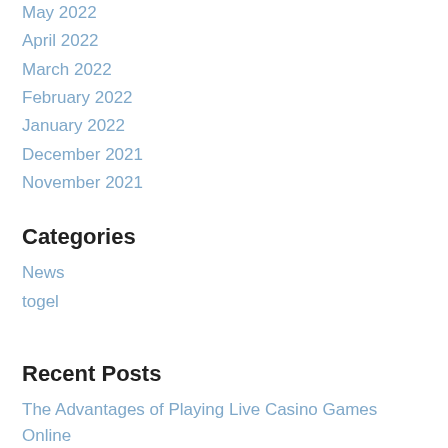May 2022
April 2022
March 2022
February 2022
January 2022
December 2021
November 2021
Categories
News
togel
Recent Posts
The Advantages of Playing Live Casino Games Online
How to Play Online Poker